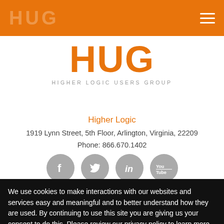HUG
[Figure (logo): HUG - Higher Logic Users Group logo. Large orange bold 'HUG' text with subtitle 'HIGHER LOGIC USERS GROUP' in gray.]
Higher Logic
1919 Lynn Street, 5th Floor, Arlington, Virginia, 22209
Phone: 866.670.1402
[Figure (infographic): Four circular gray social media icons: Facebook, Twitter, LinkedIn, YouTube]
We use cookies to make interactions with our websites and services easy and meaningful and to better understand how they are used. By continuing to use this site you are giving us your consent to do this. Please review our privacy policy to learn more.
Privacy Policy
OK